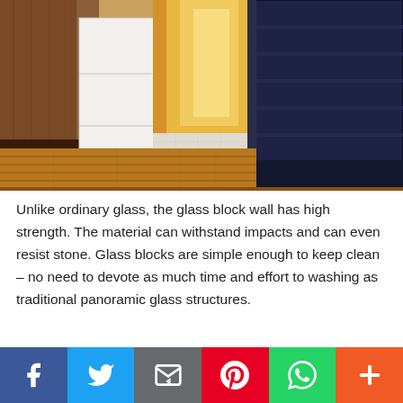[Figure (photo): Interior photo showing a hallway with wooden floors, white cabinetry on the left, and dark navy blue stairs on the right, viewed from ground level. There is warm orange/amber lighting in the background hallway.]
Unlike ordinary glass, the glass block wall has high strength. The material can withstand impacts and can even resist stone. Glass blocks are simple enough to keep clean – no need to devote as much time and effort to washing as traditional panoramic glass structures.
[Figure (photo): Partial bottom photo showing wooden ceiling or floor boards with warm brown tones, partially cropped.]
[Figure (infographic): Social sharing bar with six buttons: Facebook (blue), Twitter (light blue), Email (grey), Pinterest (red), WhatsApp (green), More (orange).]